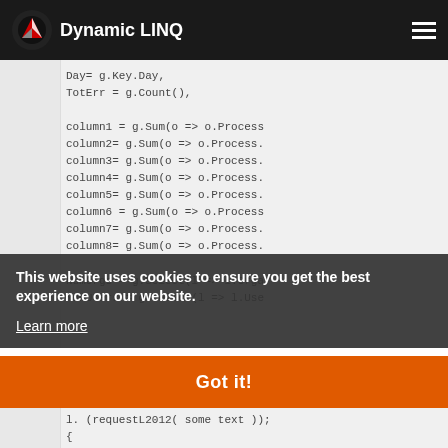Dynamic LINQ
Day= g.Key.Day,
TotErr = g.Count(),

column1 = g.Sum(o => o.Process
column2= g.Sum(o => o.Process.
column3= g.Sum(o => o.Process.
column4= g.Sum(o => o.Process.
column5= g.Sum(o => o.Process.
column6 = g.Sum(o => o.Process
column7= g.Sum(o => o.Process.
column8= g.Sum(o => o.Process.

NumOrgs = g.Select(l => l.Orga
NumUsers = g.Select(l => l.Use
This website uses cookies to ensure you get the best experience on our website.
Learn more
Got it!
l. (requestL2012( some text ));
{